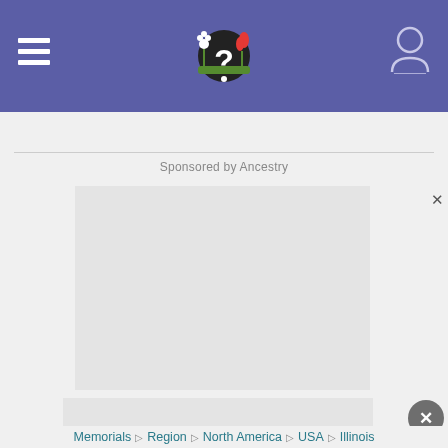Navigation header with hamburger menu, logo with question mark icon, and user profile icon on purple background
Sponsored by Ancestry
[Figure (other): Gray advertisement placeholder box]
[Figure (other): Bottom gray advertisement placeholder box]
Memorials  ❯  Region  ❯  North America  ❯  USA  ❯  Illinois